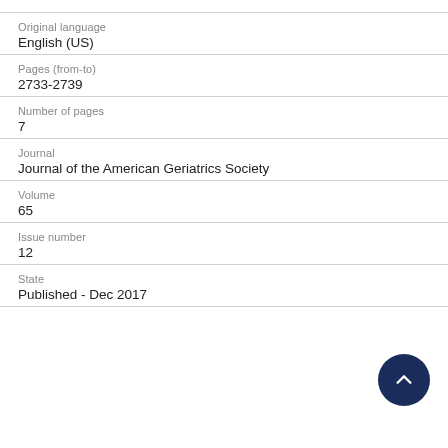Original language
English (US)
Pages (from-to)
2733-2739
Number of pages
7
Journal
Journal of the American Geriatrics Society
Volume
65
Issue number
12
State
Published - Dec 2017